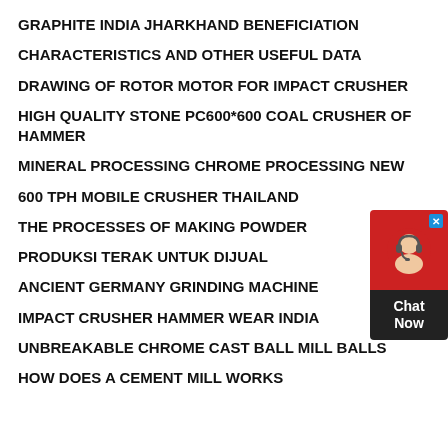GRAPHITE INDIA JHARKHAND BENEFICIATION
CHARACTERISTICS AND OTHER USEFUL DATA
DRAWING OF ROTOR MOTOR FOR IMPACT CRUSHER
HIGH QUALITY STONE PC600*600 COAL CRUSHER OF HAMMER
MINERAL PROCESSING CHROME PROCESSING NEW
600 TPH MOBILE CRUSHER THAILAND
THE PROCESSES OF MAKING POWDER
PRODUKSI TERAK UNTUK DIJUAL
ANCIENT GERMANY GRINDING MACHINE
IMPACT CRUSHER HAMMER WEAR INDIA
UNBREAKABLE CHROME CAST BALL MILL BALLS
HOW DOES A CEMENT MILL WORKS
[Figure (other): Chat Now customer support widget with red top section containing a headset icon and close button, and dark bottom section with 'Chat Now' text]